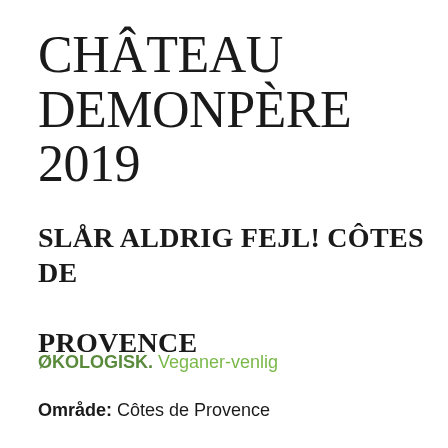CHÂTEAU DEMONPÈRE 2019
SLÅR ALDRIG FEJL! CÔTES DE PROVENCE
ØKOLOGISK. Veganer-venlig
Område: Côtes de Provence